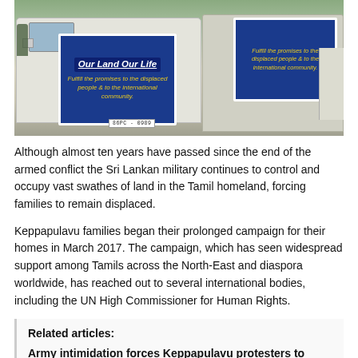[Figure (photo): Photograph of vans/trucks with blue banners reading 'Our Land Our Life – Fulfill the promises to the displaced people & to the international community.' at a protest.]
Although almost ten years have passed since the end of the armed conflict the Sri Lankan military continues to control and occupy vast swathes of land in the Tamil homeland, forcing families to remain displaced.
Keppapulavu families began their prolonged campaign for their homes in March 2017. The campaign, which has seen widespread support among Tamils across the North-East and diaspora worldwide, has reached out to several international bodies, including the UN High Commissioner for Human Rights.
Related articles:
Army intimidation forces Keppapulavu protesters to cover